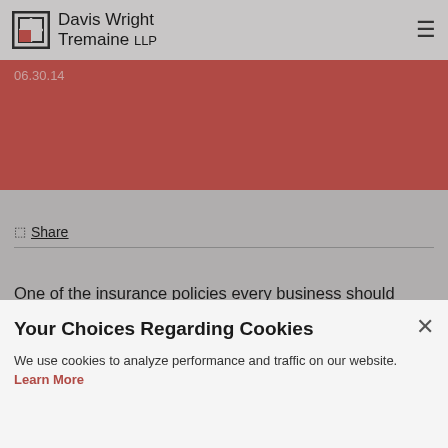Davis Wright Tremaine LLP
06.30.14
Share
One of the insurance policies every business should strongly consider having is directors and officers insurance. Regularly referred to as “D&O
Your Choices Regarding Cookies
We use cookies to analyze performance and traffic on our website. Learn More